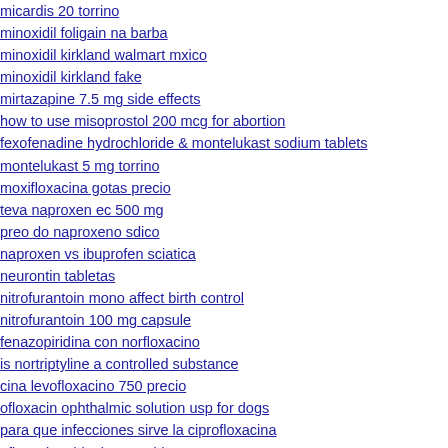micardis 20 torrino
minoxidil foligain na barba
minoxidil kirkland walmart mxico
minoxidil kirkland fake
mirtazapine 7.5 mg side effects
how to use misoprostol 200 mcg for abortion
fexofenadine hydrochloride & montelukast sodium tablets
montelukast 5 mg torrino
moxifloxacina gotas precio
teva naproxen ec 500 mg
preo do naproxeno sdico
naproxen vs ibuprofen sciatica
neurontin tabletas
nitrofurantoin mono affect birth control
nitrofurantoin 100 mg capsule
fenazopiridina con norfloxacino
is nortriptyline a controlled substance
cina levofloxacino 750 precio
ofloxacin ophthalmic solution usp for dogs
para que infecciones sirve la ciprofloxacina
ofloxacin tablet in marathi
fungsi floxigra ciprofloxacin hcl
has amlodipine olmesartan been recalled
fungsi obat pumpitor omeprazole 20 mg
esomeprazole ec tablets 20 mg